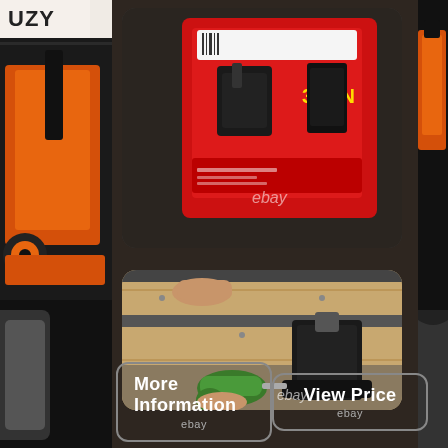[Figure (photo): UZY logo in top left corner, white background with bold black text]
[Figure (photo): Product photo: red box packaging of a 3-ton jack stand set with ebay watermark, shown on dark background]
[Figure (photo): In-use photo: person placing a wooden board on black jack stand with green power drill nearby, ebay watermark visible]
[Figure (photo): Left side strip showing orange floor jack partially visible]
[Figure (photo): Right side strip showing car tire partially visible]
More Information
ebay
View Price
ebay